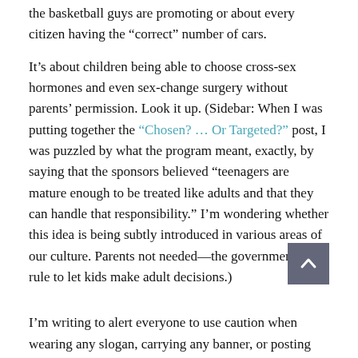the basketball guys are promoting or about every citizen having the “correct” number of cars.
It’s about children being able to choose cross-sex hormones and even sex-change surgery without parents’ permission. Look it up. (Sidebar: When I was putting together the “Chosen? … Or Targeted?” post, I was puzzled by what the program meant, exactly, by saying that the sponsors believed “teenagers are mature enough to be treated like adults and that they can handle that responsibility.” I’m wondering whether this idea is being subtly introduced in various areas of our culture. Parents not needed—the government will rule to let kids make adult decisions.)
I’m writing to alert everyone to use caution when wearing any slogan, carrying any banner, or posting